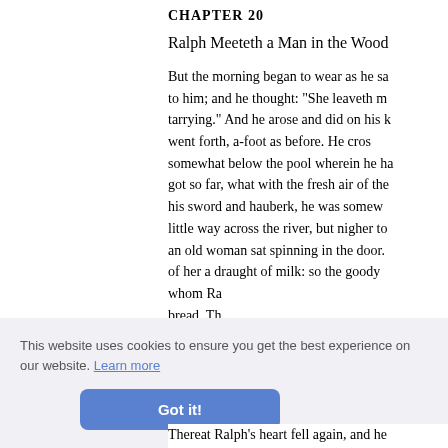CHAPTER 20
Ralph Meeteth a Man in the Wood
But the morning began to wear as he sa to him; and he thought: "She leaveth m tarrying." And he arose and did on his k went forth, a-foot as before. He cros somewhat below the pool wherein he ha got so far, what with the fresh air of the his sword and hauberk, he was somew little way across the river, but nigher to an old woman sat spinning in the door. of her a draught of milk: so the goody whom Ra bread. Th t abiding ell, belik
Thereat Ralph's heart fell again, and he